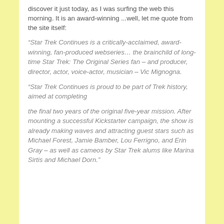discover it just today, as I was surfing the web this morning. It is an award-winning ...well, let me quote from the site itself:
“Star Trek Continues is a critically-acclaimed, award-winning, fan-produced webseries... the brainchild of long-time Star Trek: The Original Series fan – and producer, director, actor, voice-actor, musician – Vic Mignogna.
“Star Trek Continues is proud to be part of Trek history, aimed at completing
the final two years of the original five-year mission. After mounting a successful Kickstarter campaign, the show is already making waves and attracting guest stars such as Michael Forest, Jamie Bamber, Lou Ferrigno, and Erin Gray – as well as cameos by Star Trek alums like Marina Sirtis and Michael Dorn.”